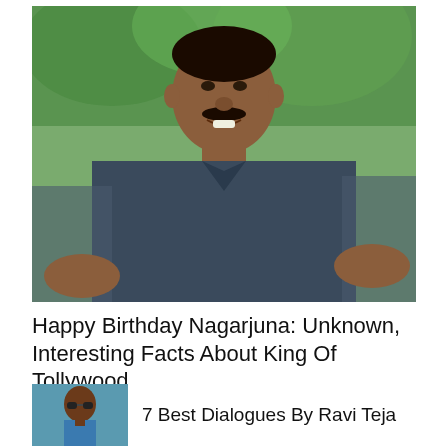[Figure (photo): A smiling Indian man with a moustache wearing a dark navy blue polo shirt, photographed outdoors with green foliage in the background — identified as Nagarjuna.]
Happy Birthday Nagarjuna: Unknown, Interesting Facts About King Of Tollywood
[Figure (photo): Small thumbnail photo of Ravi Teja wearing sunglasses and a blue shirt.]
7 Best Dialogues By Ravi Teja